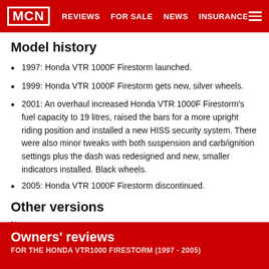MCN  REVIEWS  FOR SALE  NEWS  INSURANCE
Model history
1997: Honda VTR 1000F Firestorm launched.
1999: Honda VTR 1000F Firestorm gets new, silver wheels.
2001: An overhaul increased Honda VTR 1000F Firestorm's fuel capacity to 19 litres, raised the bars for a more upright riding position and installed a new HISS security system. There were also minor tweaks with both suspension and carb/ignition settings plus the dash was redesigned and new, smaller indicators installed. Black wheels.
2005: Honda VTR 1000F Firestorm discontinued.
Other versions
None.
Owners' reviews
for the HONDA VTR1000 FIRESTORM (1997 - 2005)